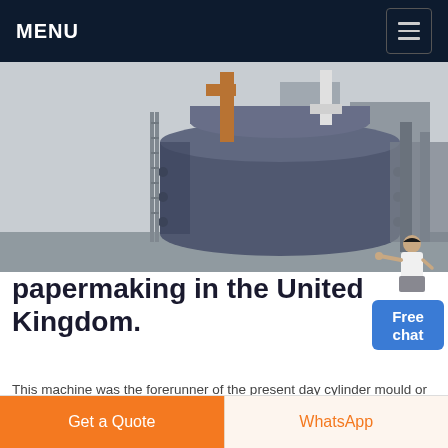MENU
[Figure (photo): Industrial papermaking machinery — large cylindrical vessel with pipes in a factory setting]
papermaking in the United Kingdom.
This machine was the forerunner of the present day cylinder mould or vat machine, used mainly for the production of boards. Both these machines produced paper as a wet sheet which require drying after removal from the machine, but in 1821 T B Crompton
Get a Quote
WhatsApp